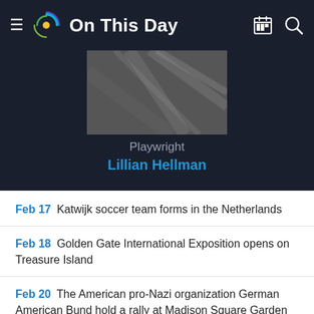On This Day
[Figure (photo): Black and white photograph (partially visible), cropped at top]
Playwright
Lillian Hellman
Feb 17 Katwijk soccer team forms in the Netherlands
Feb 18 Golden Gate International Exposition opens on Treasure Island
Feb 20 The American pro-Nazi organization German American Bund hold a rally at Madison Square Garden and 20,000 attend
Feb 21 Belgian government of Pierlot forms